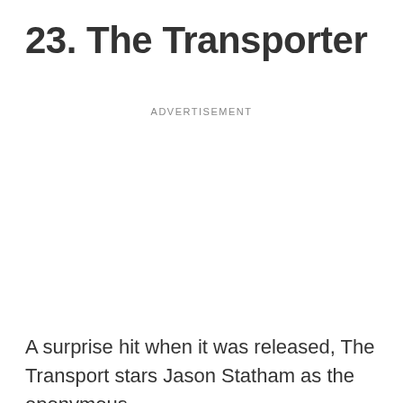23. The Transporter
ADVERTISEMENT
A surprise hit when it was released, The Transport stars Jason Statham as the eponymous